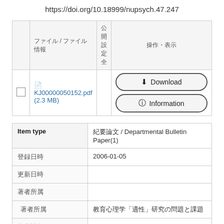https://doi.org/10.18999/nupsych.47.247
|  | ファイル / ファイル情報 | 公開
設定
全 | 操作・表示 |
| --- | --- | --- | --- |
| ☐ | 📄 KJ00000050152.pdf (2.3 MB) |  | Download | Information |
| Item type | 紀要論文 / Departmental Bulletin Paper(1) |
| --- | --- |
| 登録日時 | 2006-01-05 |
| 更新日時 |  |
| 著者所属 | 教育心理学「適性」研究の問題と課題 |
| 権利情報 |  |